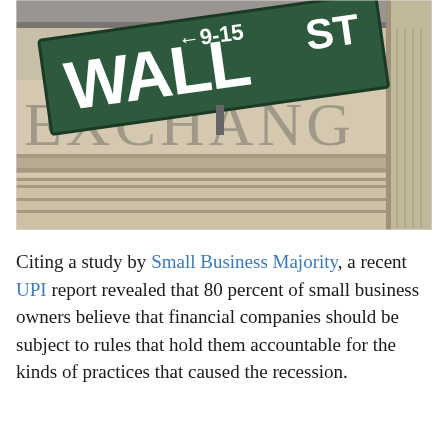[Figure (photo): Close-up photograph of a Wall Street street sign (green with white text, showing '← 9-15 ST' and 'WALL') in the foreground, with the New York Stock Exchange building facade showing carved letters 'EXCHANG' in the background.]
Citing a study by Small Business Majority, a recent UPI report revealed that 80 percent of small business owners believe that financial companies should be subject to rules that hold them accountable for the kinds of practices that caused the recession.